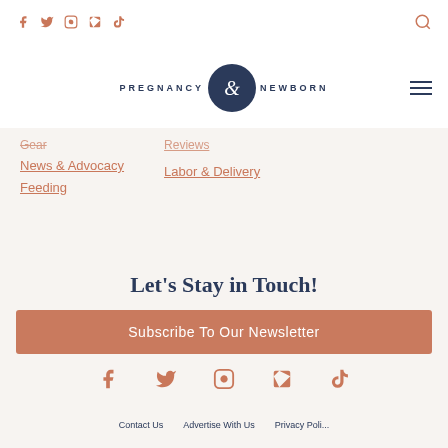Social icons: facebook, twitter, instagram, pinterest, tiktok | search icon
[Figure (logo): Pregnancy & Newborn logo with navy circle ampersand emblem and text PREGNANCY NEWBORN]
Gear
News & Advocacy
Feeding
Reviews
Labor & Delivery
Let's Stay in Touch!
Subscribe To Our Newsletter
Social icons: facebook, twitter, instagram, pinterest, tiktok | Contact Us · Advertise With Us · Privacy Policy